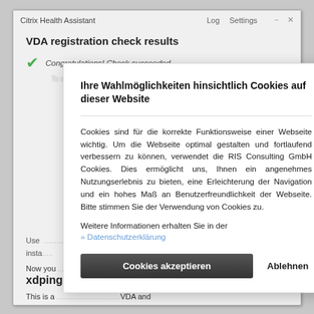[Figure (screenshot): Citrix Health Assistant application window showing VDA registration check results with a green checkmark and 'Congratulations! Check succeeded.' message. Behind a cookie consent modal dialog.]
Ihre Wahlmöglichkeiten hinsichtlich Cookies auf dieser Website
Cookies sind für die korrekte Funktionsweise einer Webseite wichtig. Um die Webseite optimal gestalten und fortlaufend verbessern zu können, verwendet die RIS Consulting GmbH Cookies. Dies ermöglicht uns, Ihnen ein angenehmes Nutzungserlebnis zu bieten, eine Erleichterung der Navigation und ein hohes Maß an Benutzerfreundlichkeit der Webseite. Bitte stimmen Sie der Verwendung von Cookies zu.
Weitere Informationen erhalten Sie in der
» Datenschutzerklärung
Cookies akzeptieren
Ablehnen